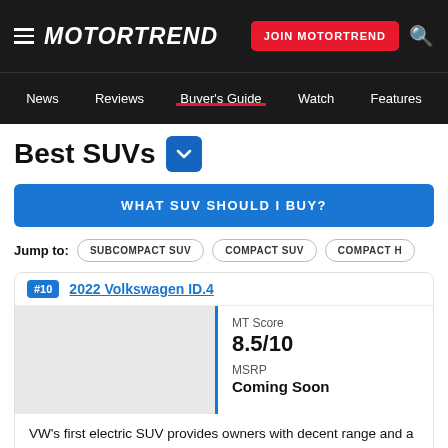MOTORTREND | JOIN MOTORTREND
News  Reviews  Buyer's Guide  Watch  Features
Best SUVs
WHAT SUV SHOULD I BUY?
Jump to: SUBCOMPACT SUV  COMPACT SUV  COMPACT HY
#10  2022 Volkswagen ID.4
MT Score
8.5/10
MSRP
Coming Soon
VW's first electric SUV provides owners with decent range and a refined drive, although tricky infotainment controls will turn